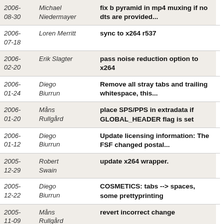| Date | Author | Message |
| --- | --- | --- |
| 2006-08-30 | Michael Niedermayer | fix b pyramid in mp4 muxing if no dts are provided... |
| 2006-07-18 | Loren Merritt | sync to x264 r537 |
| 2006-02-20 | Erik Slagter | pass noise reduction option to x264 |
| 2006-01-24 | Diego Biurrun | Remove all stray tabs and trailing whitespace, this... |
| 2006-01-20 | Måns Rullgård | place SPS/PPS in extradata if GLOBAL_HEADER flag is set |
| 2006-01-12 | Diego Biurrun | Update licensing information: The FSF changed postal... |
| 2005-12-29 | Robert Swain | update x264 wrapper. |
| 2005-12-22 | Diego Biurrun | COSMETICS: tabs --> spaces, some prettyprinting |
| 2005-11-09 | Måns Rullgård | revert incorrect change |
| 2005-11-09 | Steven M. Schultz | s/log2/av_log2/ |
| 2005- | Dario | set more x264 encoding parameters |